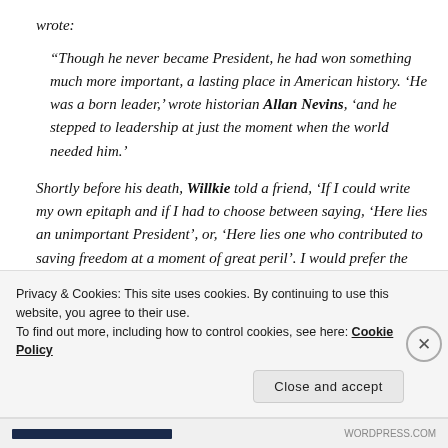wrote:
“Though he never became President, he had won something much more important, a lasting place in American history. ‘He was a born leader,’ wrote historian Allan Nevins, ‘and he stepped to leadership at just the moment when the world needed him.’
Shortly before his death, Willkie told a friend, ‘If I could write my own epitaph and if I had to choose between saying, ‘Here lies an unimportant President’, or, ‘Here lies one who contributed to saving freedom at a moment of great peril’. I would prefer the latter.’”
Privacy & Cookies: This site uses cookies. By continuing to use this website, you agree to their use.
To find out more, including how to control cookies, see here: Cookie Policy
Close and accept